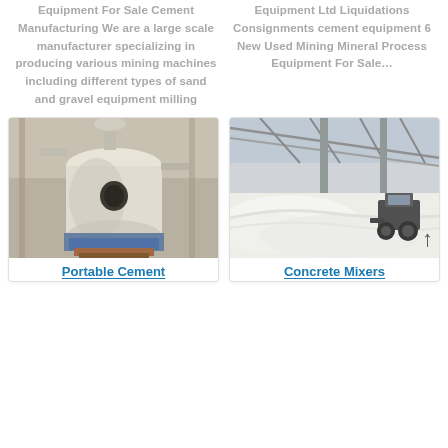Equipment For Sale Cement Manufacturing We are a large scale manufacturer specializing in producing various mining machines including different types of sand and gravel equipment milling
Equipment Ltd Liquidations Consignments cement equipment 6 New Used Mining Mineral Process Equipment For Sale…
[Figure (photo): Industrial cement mill machine in a factory setting, large cylindrical white vessel with openings, industrial equipment visible in background]
[Figure (photo): Interior of a large warehouse or industrial facility with white powder/material on the floor and a tractor/loader vehicle operating in the background, high ceiling with metal roof structure]
Portable Cement
Concrete Mixers